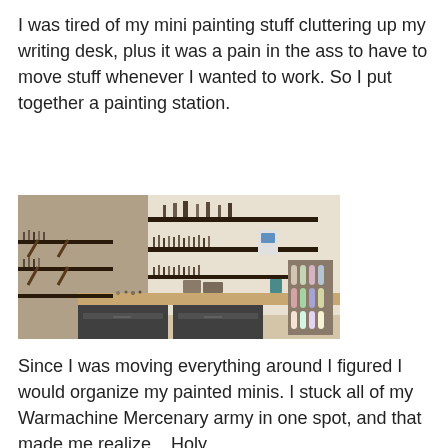I was tired of my mini painting stuff cluttering up my writing desk, plus it was a pain in the ass to have to move stuff whenever I wanted to work. So I put together a painting station.
[Figure (photo): A home painting station set up in a corner under a sloped ceiling. Shelves on the walls hold many miniature figurines and paint bottles. A desk below has more minis and supplies spread out on it, with a paint rack on the right side.]
Since I was moving everything around I figured I would organize my painted minis. I stuck all of my Warmachine Mercenary army in one spot, and that made me realize... Holy